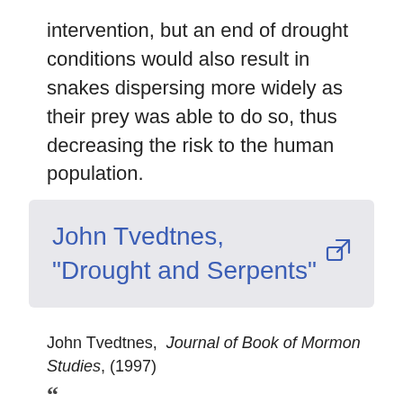intervention, but an end of drought conditions would also result in snakes dispersing more widely as their prey was able to do so, thus decreasing the risk to the human population.
[Figure (other): Highlighted link box with blue text: John Tvedtnes, "Drought and Serpents" with an external link icon]
John Tvedtnes, Journal of Book of Mormon Studies, (1997)
“ During my lengthy residence in Israel